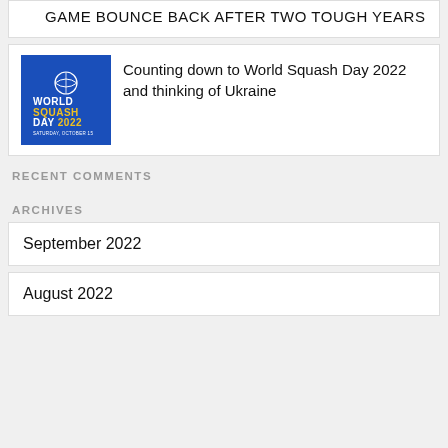GAME BOUNCE BACK AFTER TWO TOUGH YEARS
[Figure (logo): World Squash Day 2022 logo on blue background]
Counting down to World Squash Day 2022 and thinking of Ukraine
RECENT COMMENTS
ARCHIVES
September 2022
August 2022